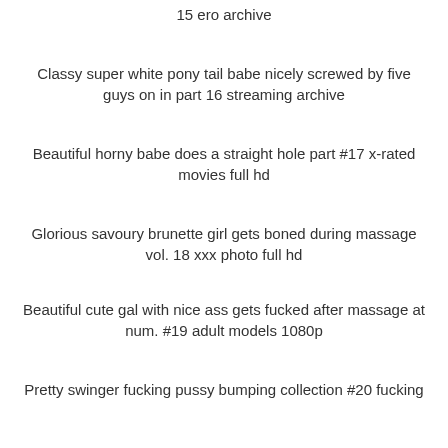15 ero archive
Classy super white pony tail babe nicely screwed by five guys on in part 16 streaming archive
Beautiful horny babe does a straight hole part #17 x-rated movies full hd
Glorious savoury brunette girl gets boned during massage vol. 18 xxx photo full hd
Beautiful cute gal with nice ass gets fucked after massage at num. #19 adult models 1080p
Pretty swinger fucking pussy bumping collection #20 fucking